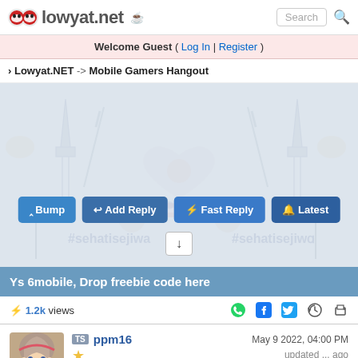lowyat.net  Search
Welcome Guest ( Log In | Register )
Lowyat.NET -> Mobile Gamers Hangout
[Figure (screenshot): Decorative background with Malaysian landmark watermarks and hashtag #sehatisejiwa]
^ Bump  ↩ Add Reply  ⚡ Fast Reply  🔔 Latest
Ys 6mobile, Drop freebie code here
⚡ 1.2k views
TS ppm16  May 9 2022, 04:00 PM  updated ... ago  #1